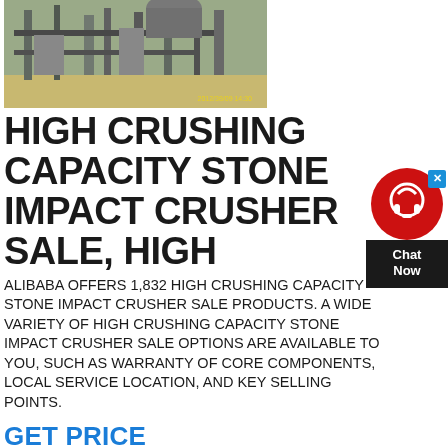[Figure (photo): Industrial stone crusher facility with machinery and equipment, timestamp 2012/38/09 14:30]
HIGH CRUSHING CAPACITY STONE IMPACT CRUSHER SALE, HIGH
ALIBABA OFFERS 1,832 HIGH CRUSHING CAPACITY STONE IMPACT CRUSHER SALE PRODUCTS. A WIDE VARIETY OF HIGH CRUSHING CAPACITY STONE IMPACT CRUSHER SALE OPTIONS ARE AVAILABLE TO YOU, SUCH AS WARRANTY OF CORE COMPONENTS, LOCAL SERVICE LOCATION, AND KEY SELLING POINTS.
[Figure (other): Chat Now widget with red circle headset icon and dark Chat Now label]
GET PRICE
[Figure (photo): Green stone impact crusher machine against cloudy sky]